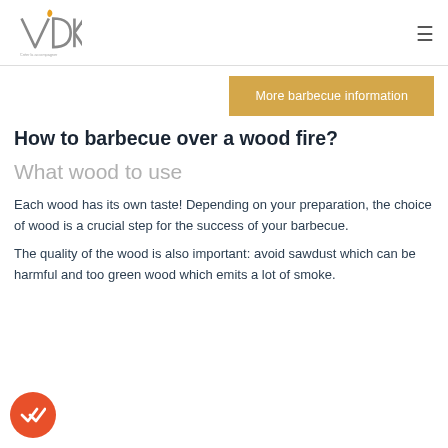VDK logo and navigation menu
More barbecue information
How to barbecue over a wood fire?
What wood to use
Each wood has its own taste! Depending on your preparation, the choice of wood is a crucial step for the success of your barbecue.
The quality of the wood is also important: avoid sawdust which can be harmful and too green wood which emits a lot of smoke.